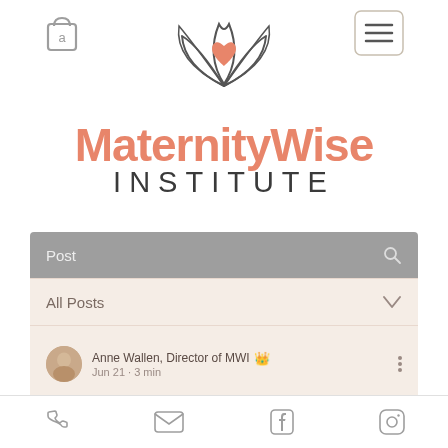[Figure (logo): MaternityWise Institute logo with lotus flower and heart design, shopping bag icon on left, hamburger menu icon on right]
MaternityWise
INSTITUTE
[Figure (screenshot): Mobile app interface showing a Post section with search icon, All Posts dropdown, and a post by Anne Wallen, Director of MWI with avatar, dated Jun 21, 3 min read]
[Figure (infographic): Footer navigation bar with phone, email, Facebook, and Instagram icons]